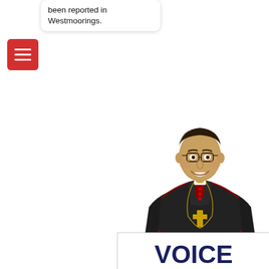been reported in Westmoorings.
[Figure (illustration): Red hamburger menu button icon]
[Figure (photo): Archbishop J in black episcopal vestments with gold cross necklace, smiling]
CONVERSATIONS WITH ARCHBISHOP J
VOICE YOUR OPINION